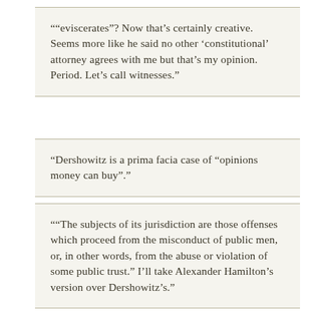""eviscerates"? Now that's certainly creative. Seems more like he said no other 'constitutional' attorney agrees with me but that's my opinion. Period. Let's call witnesses."
"Dershowitz is a prima facia case of "opinions money can buy"."
""The subjects of its jurisdiction are those offenses which proceed from the misconduct of public men, or, in other words, from the abuse or violation of some public trust." I'll take Alexander Hamilton's version over Dershowitz's."